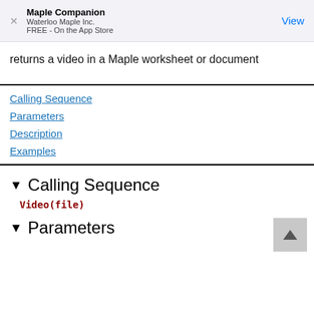Maple Companion
Waterloo Maple Inc.
FREE - On the App Store
returns a video in a Maple worksheet or document
Calling Sequence
Parameters
Description
Examples
Calling Sequence
Video(file)
Parameters